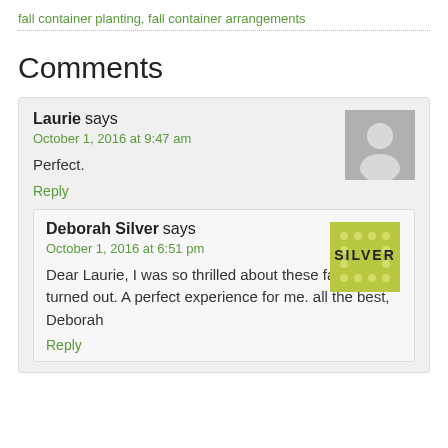fall container planting, fall container arrangements
Comments
Laurie says
October 1, 2016 at 9:47 am
Perfect.
Reply
Deborah Silver says
October 1, 2016 at 6:51 pm
Dear Laurie, I was so thrilled about these fall pots turned out. A perfect experience for me. all the best, Deborah
Reply